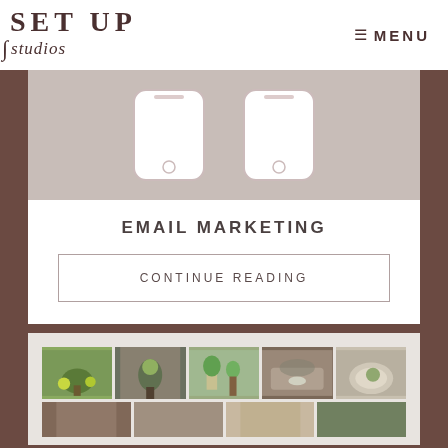SET UP studios  ≡ MENU
[Figure (photo): Two white smartphones viewed from above on a light background]
EMAIL MARKETING
CONTINUE READING
[Figure (photo): Collage of rustic garden and home decor items including plants, watering cans, and white bowls arranged in a grid]